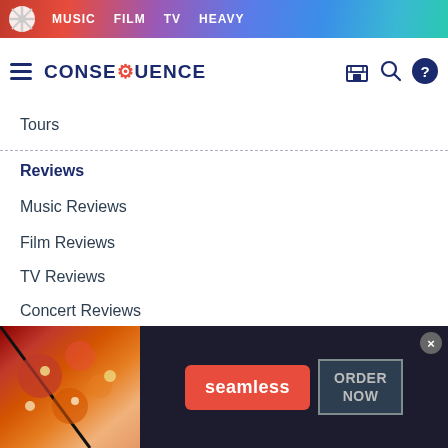MUSIC  FILM  TV  HEAVY
CONSEQUENCE
Tours
Reviews
Music Reviews
Film Reviews
TV Reviews
Concert Reviews
Festival Reviews
[Figure (screenshot): Seamless food delivery advertisement banner showing pizza image on left, red Seamless logo button in center, and ORDER NOW button on dark background on right, with close X button in top right corner.]